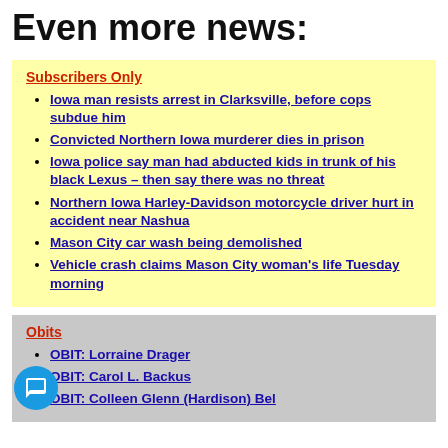Even more news:
Subscribers Only
Iowa man resists arrest in Clarksville, before cops subdue him
Convicted Northern Iowa murderer dies in prison
Iowa police say man had abducted kids in trunk of his black Lexus – then say there was no threat
Northern Iowa Harley-Davidson motorcycle driver hurt in accident near Nashua
Mason City car wash being demolished
Vehicle crash claims Mason City woman's life Tuesday morning
Obits
OBIT: Lorraine Drager
OBIT: Carol L. Backus
OBIT: Colleen Glenn (Hardison) Belz